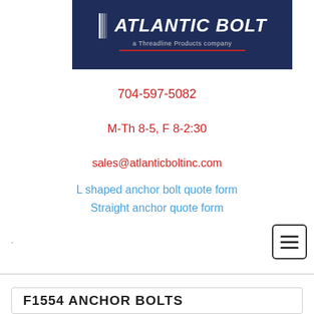[Figure (logo): Atlantic Bolt logo — dark navy background with bold italic white text 'ATLANTIC BOLT' with horizontal line icon, subtitle 'a Threadline Products company' and red underline]
704-597-5082
M-Th 8-5, F 8-2:30
sales@atlanticboltinc.com
L shaped anchor bolt quote form
Straight anchor quote form
F1554 ANCHOR BOLTS